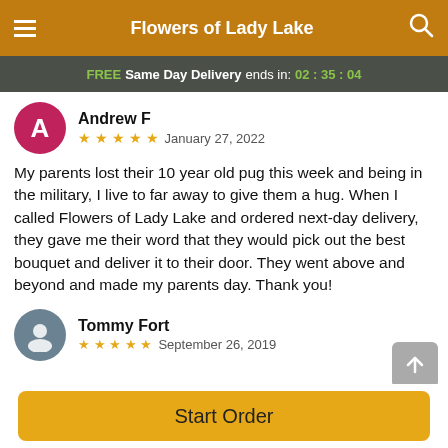Flowers of Lady Lake
FREE Same Day Delivery ends in: 02:35:04
Andrew F
★★★★★  January 27, 2022
My parents lost their 10 year old pug this week and being in the military, I live to far away to give them a hug. When I called Flowers of Lady Lake and ordered next-day delivery, they gave me their word that they would pick out the best bouquet and deliver it to their door. They went above and beyond and made my parents day. Thank you!
Tommy Fort
★★★★★  September 26, 2019
Start Order